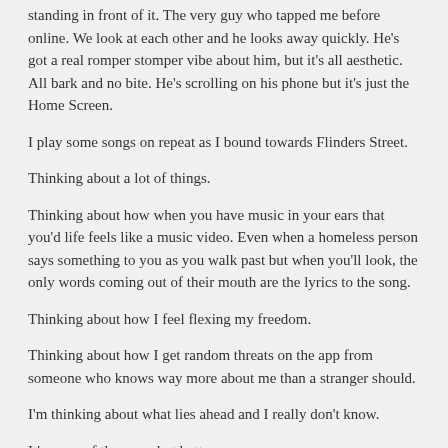standing in front of it. The very guy who tapped me before online. We look at each other and he looks away quickly. He’s got a real romper stomper vibe about him, but it’s all aesthetic. All bark and no bite. He’s scrolling on his phone but it’s just the Home Screen.
I play some songs on repeat as I bound towards Flinders Street.
Thinking about a lot of things.
Thinking about how when you have music in your ears that you’d life feels like a music video. Even when a homeless person says something to you as you walk past but when you’ll look, the only words coming out of their mouth are the lyrics to the song.
Thinking about how I feel flexing my freedom.
Thinking about how I get random threats on the app from someone who knows way more about me than a stranger should.
I’m thinking about what lies ahead and I really don’t know.
It’s more of the same but better.